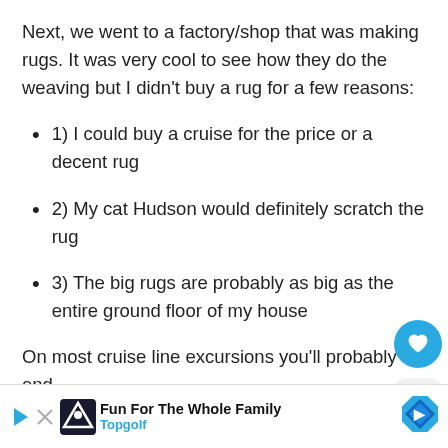Next, we went to a factory/shop that was making rugs. It was very cool to see how they do the weaving but I didn't buy a rug for a few reasons:
1) I could buy a cruise for the price or a decent rug
2) My cat Hudson would definitely scratch the rug
3) The big rugs are probably as big as the entire ground floor of my house
On most cruise line excursions you'll probably end
[Figure (infographic): Side UI buttons: a circular blue heart/like button and a rounded square share button with a share icon]
[Figure (infographic): What's Next widget showing a thumbnail image and text 'WHAT'S NEXT → Viking Cruises,...']
[Figure (infographic): Advertisement bar at bottom: Topgolf logo, 'Fun For The Whole Family' headline, 'Topgolf' subtext in blue, blue diamond arrow icon on right]